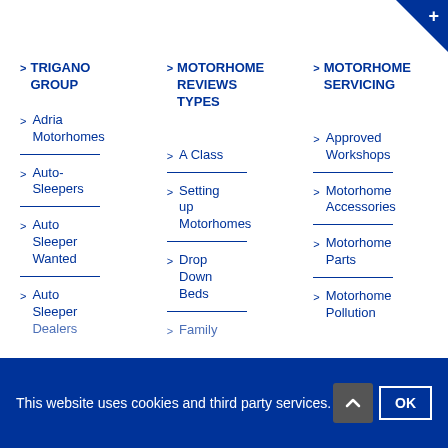> TRIGANO GROUP
> MOTORHOME REVIEWS TYPES
> MOTORHOME SERVICING
> Adria Motorhomes
> A Class
> Approved Workshops
> Auto-Sleepers
> Setting up Motorhomes
> Motorhome Accessories
> Auto Sleeper Wanted
> Drop Down Beds
> Motorhome Parts
> Auto Sleeper Dealers
> Family
> Motorhome Pollution
This website uses cookies and third party services.
OK